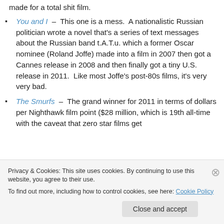made for a total shit film.
You and I – This one is a mess. A nationalistic Russian politician wrote a novel that's a series of text messages about the Russian band t.A.T.u. which a former Oscar nominee (Roland Joffe) made into a film in 2007 then got a Cannes release in 2008 and then finally got a tiny U.S. release in 2011. Like most Joffe's post-80s films, it's very very bad.
The Smurfs – The grand winner for 2011 in terms of dollars per Nighthawk film point ($28 million, which is 19th all-time with the caveat that zero star films get
Privacy & Cookies: This site uses cookies. By continuing to use this website, you agree to their use.
To find out more, including how to control cookies, see here: Cookie Policy